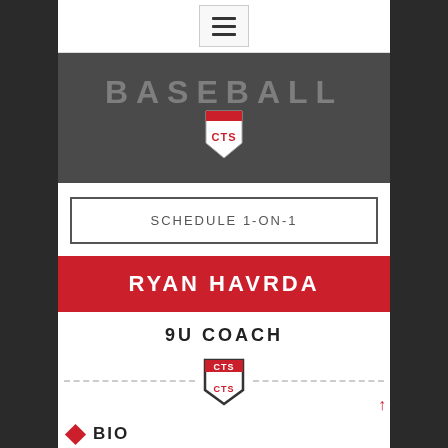[Figure (screenshot): Navigation menu bar with hamburger icon at top center]
[Figure (photo): Close-up photo of a baseball jersey with 'BASEBALL' text and CTS shield logo on dark grey fabric]
SCHEDULE 1-ON-1
RYAN HAVRDA
9U COACH
[Figure (logo): CTS shield logo centered between dashed lines as a divider]
BIO